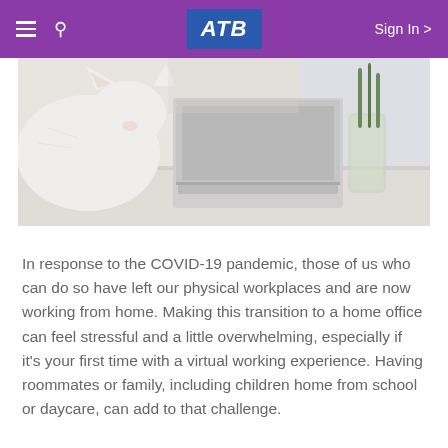ATB — Sign In
[Figure (photo): A white cat sitting on a desk next to an open laptop and a glass vase with green plant stems, near a bright window.]
In response to the COVID-19 pandemic, those of us who can do so have left our physical workplaces and are now working from home. Making this transition to a home office can feel stressful and a little overwhelming, especially if it’s your first time with a virtual working experience. Having roommates or family, including children home from school or daycare, can add to that challenge.